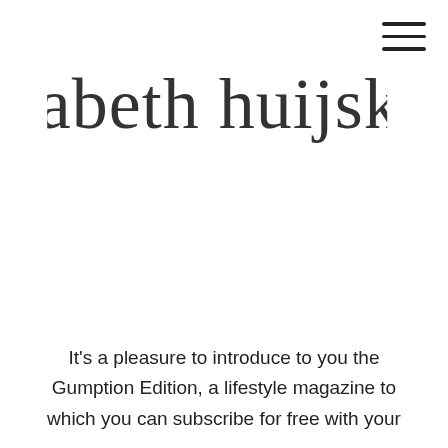[Figure (logo): Cursive script logo reading 'elisabeth huijskens']
[Figure (other): Hamburger menu icon with three horizontal lines in the top-right corner]
It's a pleasure to introduce to you the Gumption Edition, a lifestyle magazine to which you can subscribe for free with your